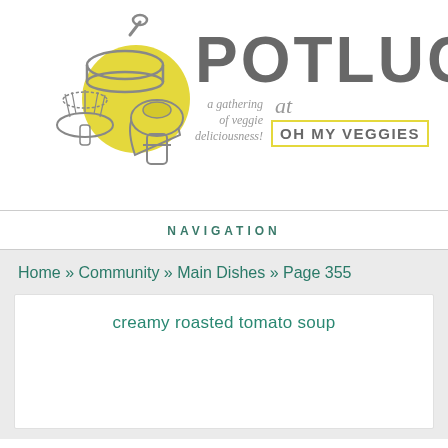[Figure (logo): Potluck at Oh My Veggies logo with mushroom illustrations, yellow circle, and text reading POTLUCK at OH MY VEGGIES with subtitle 'a gathering of veggie deliciousness!']
NAVIGATION
Home » Community » Main Dishes » Page 355
creamy roasted tomato soup